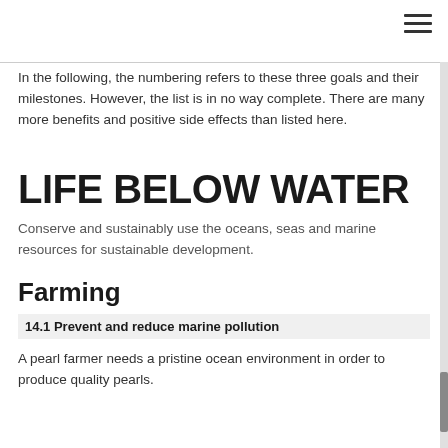☰
In the following, the numbering refers to these three goals and their milestones. However, the list is in no way complete. There are many more benefits and positive side effects than listed here.
LIFE BELOW WATER
Conserve and sustainably use the oceans, seas and marine resources for sustainable development.
Farming
14.1 Prevent and reduce marine pollution
A pearl farmer needs a pristine ocean environment in order to produce quality pearls.